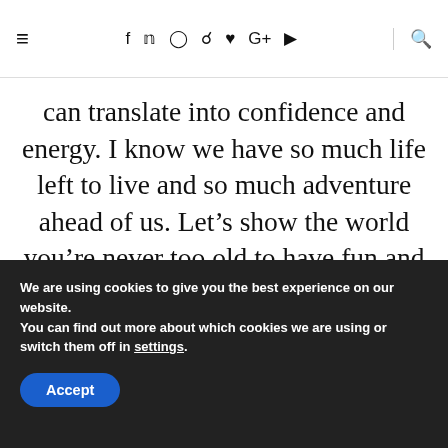≡  f  ✓  ⊙  ⊕  ♥  G+  ▶  🔍
can translate into confidence and energy. I know we have so much life left to live and so much adventure ahead of us. Let's show the world you're never too old to have fun and be fierce
6 Comments   Share  f  ✓  ⊕  G+
We are using cookies to give you the best experience on our website.
You can find out more about which cookies we are using or switch them off in settings.
Accept